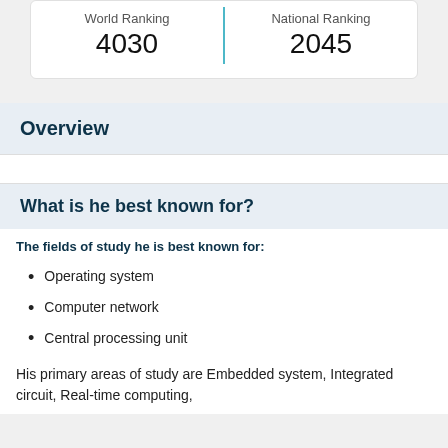| World Ranking | National Ranking |
| --- | --- |
| 4030 | 2045 |
Overview
What is he best known for?
The fields of study he is best known for:
Operating system
Computer network
Central processing unit
His primary areas of study are Embedded system, Integrated circuit, Real-time computing,